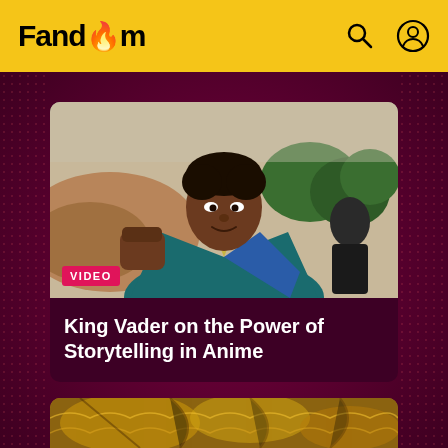Fandom
[Figure (screenshot): Screenshot of Fandom website showing a video card with a young man in a teal blazer making a fist pump gesture outdoors, with trees and hills in background. A 'VIDEO' badge is shown in the bottom-left of the thumbnail.]
King Vader on the Power of Storytelling in Anime
[Figure (photo): Partial view of a golden/amber colored textured image at the bottom of the page, possibly a creature or decorative element.]